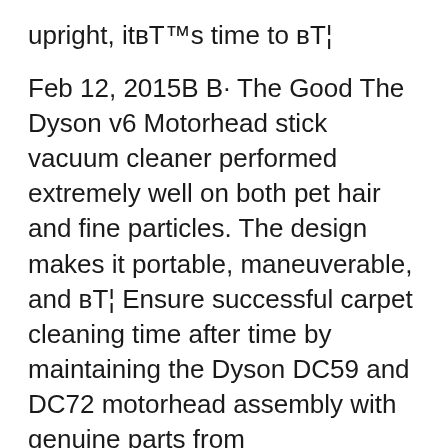upright, it's time to в„¦
Feb 12, 2015В В· The Good The Dyson v6 Motorhead stick vacuum cleaner performed extremely well on both pet hair and fine particles. The design makes it portable, maneuverable, and вЂ¦ Ensure successful carpet cleaning time after time by maintaining the Dyson DC59 and DC72 motorhead assembly with genuine parts from eVacuumStore! Canister Vacuums; Car Wash Vacuum Cleaners; > Vacuum Parts and Accessories > Dyson Vacuum Parts > Dyson Cordless Vacuum Parts > Dyson DC59 Motorhead DC72 Vacuum Parts List > Dyson DC59 DC72